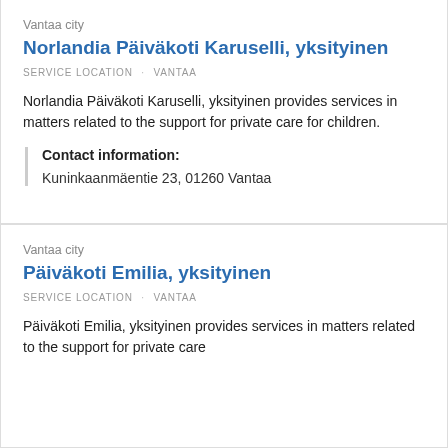Vantaa city
Norlandia Päiväkoti Karuselli, yksityinen
SERVICE LOCATION · VANTAA
Norlandia Päiväkoti Karuselli, yksityinen provides services in matters related to the support for private care for children.
Contact information:
Kuninkaanmäentie 23, 01260 Vantaa
Vantaa city
Päiväkoti Emilia, yksityinen
SERVICE LOCATION · VANTAA
Päiväkoti Emilia, yksityinen provides services in matters related to the support for private care